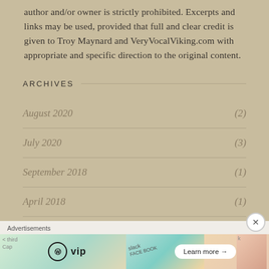author and/or owner is strictly prohibited. Excerpts and links may be used, provided that full and clear credit is given to Troy Maynard and VeryVocalViking.com with appropriate and specific direction to the original content.
ARCHIVES
August 2020 (2)
July 2020 (3)
September 2018 (1)
April 2018 (1)
Advertisements